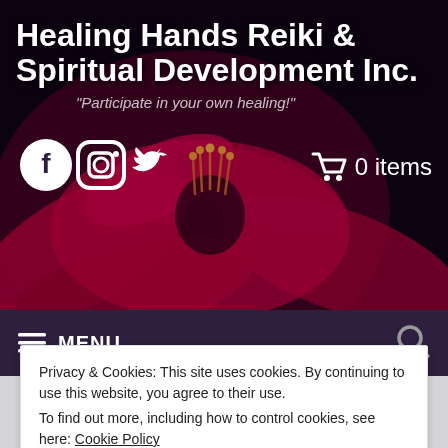[Figure (photo): Pink lotus/water lily flower against dark background, used as hero banner image]
Healing Hands Reiki & Spiritual Development Inc.
"Participate in your own healing!"
[Figure (illustration): Social media icons: Facebook, Instagram, Twitter (white)]
0 items
MENU
Privacy & Cookies: This site uses cookies. By continuing to use this website, you agree to their use.
To find out more, including how to control cookies, see here: Cookie Policy
Close and accept